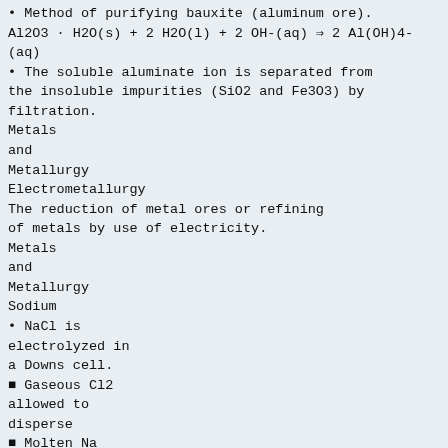Method of purifying bauxite (aluminum ore).
Al2O3 · H2O(s) + 2 H2O(l) + 2 OH-(aq) → 2 Al(OH)4-(aq)
The soluble aluminate ion is separated from the insoluble impurities (SiO2 and Fe3O3) by filtration.
Metals
and
Metallurgy
Electrometallurgy
The reduction of metal ores or refining of metals by use of electricity.
Metals
and
Metallurgy
Sodium
NaCl is electrolyzed in a Downs cell.
Gaseous Cl2 allowed to disperse
Molten Na siphoned off
Metals
and
Metallurgy
Aluminum
In the Hall process, Al2O3 is dissolved in molten cryolite (Na2AlF6), and Al3+